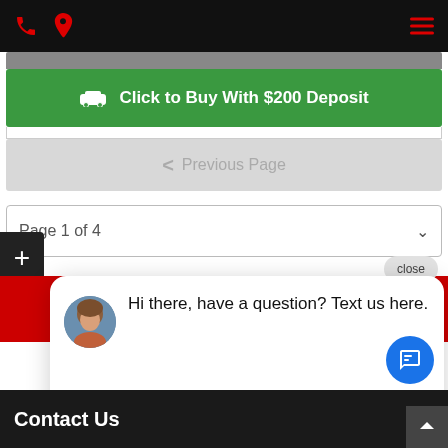[Figure (screenshot): Mobile website navigation bar with red phone icon, red map pin icon, and red hamburger menu icon on black background]
[Figure (screenshot): Green button with car icon reading 'Click to Buy With $200 Deposit']
[Figure (screenshot): Light gray Previous Page navigation button with left arrow]
Page 1 of 4
[Figure (screenshot): Chat popup overlay with avatar photo of a woman and text 'Hi there, have a question? Text us here.' with close button]
* If the price does not include additional charges may not include add... charges. Please confirm price and features with the seller of the vehicle.
Contact Us